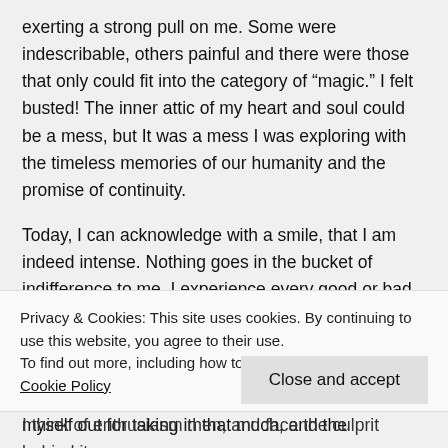exerting a strong pull on me. Some were indescribable, others painful and there were those that only could fit into the category of "magic." I felt busted! The inner attic of my heart and soul could be a mess, but It was a mess I was exploring with the timeless memories of our humanity and the promise of continuity.
Today, I can acknowledge with a smile, that I am indeed intense. Nothing goes in the bucket of indifference to me. I experience every good or bad mood, event, discovery, emotion and wonder in all its beautiful force. Sometimes is damn difficult, too much to bear for a vulnerable and breakable human being! Add to that, my inner critic' tendency to beat myself out for taking in that much, and the
Privacy & Cookies: This site uses cookies. By continuing to use this website, you agree to their use.
To find out more, including how to control cookies, see here: Cookie Policy
Close and accept
I think of enthusiasm then, and face the culprit behind its